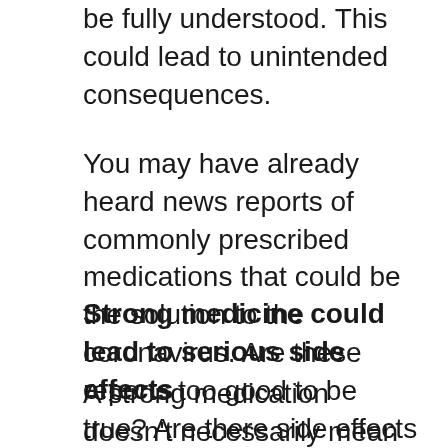be fully understood. This could lead to unintended consequences.
You may have already heard news reports of commonly prescribed medications that could be the solution to the coronavirus. Are these reports too good to be true? Are there side effects to consider? Carmel Dyer, MD, a geriatrician at UT Physicians Center for Healthy Aging in Bellaire, provides information to help you make sense of the current news concerning medications.
Strong medicine could lead to serious side effects
A strong medication doesn't necessarily mean a better medication, said Dyer, executive director of the Consortium on Aging and executive vice chair of the Department of Internal Medicine at McGovern...